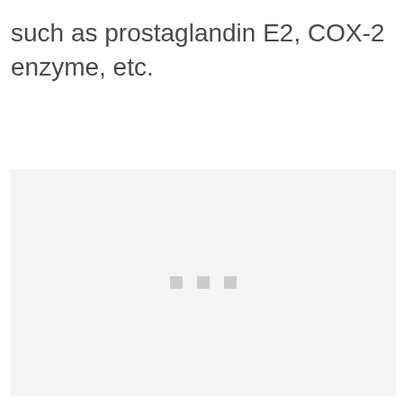such as prostaglandin E2, COX-2 enzyme, etc.
[Figure (other): Loading placeholder with three small grey squares centered in a light grey box]